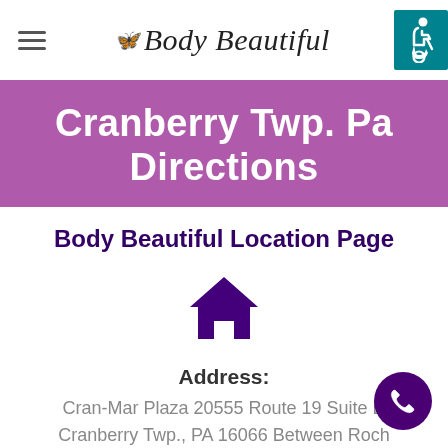Body Beautiful
Cranberry Twp. Pa Directions
Body Beautiful Location Page
[Figure (illustration): Home icon (house silhouette) in dark purple]
Address:
Cran-Mar Plaza 20555 Route 19 Suite D Cranberry Twp., PA 16066 Between Roch and Rowan Rd. Across from Dominoes